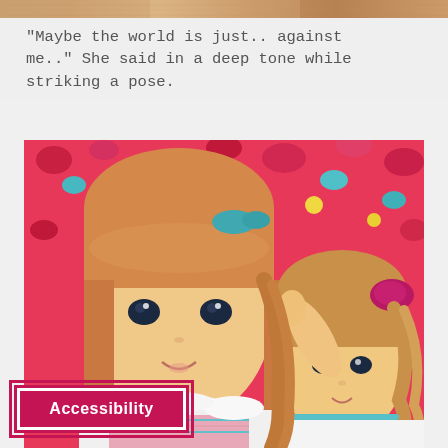[Figure (photo): Partial top strip of a photo showing dolls, cropped at the top of the page]
"Maybe the world is just.. against me.." She said in a deep tone while striking a pose.
[Figure (photo): Two American Girl dolls with blonde and strawberry-blonde hair lying on a colorful floral fabric background. The larger doll wears a white fur vest over a striped outfit and has a teal hair accessory. The smaller doll in the background wears a white top and has a magenta scrunchie in her hair and her arm is raised.]
Accessibility